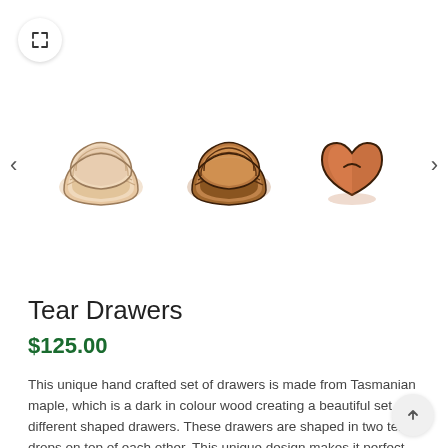[Figure (photo): Three wooden tear-drop shaped drawer sets. Left: light maple colored stacked tear drop drawers. Center: darker brown stacked tear drop drawers. Right: single reddish-brown heart/tear shaped wooden piece.]
Tear Drawers
$125.00
This unique hand crafted set of drawers is made from Tasmanian maple, which is a dark in colour wood creating a beautiful set of different shaped drawers. These drawers are shaped in two tear drops on top of each other. This unique design makes it perfect for a display piece and useful for storage of little objects. The drawers have a blu